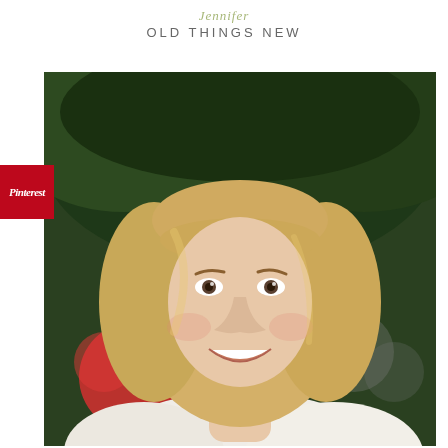Jennifer
OLD THINGS NEW
[Figure (photo): Portrait photograph of a middle-aged woman with shoulder-length blonde hair and bangs, smiling, wearing a white blazer with a beaded necklace, against a blurred green and bokeh background]
Pinterest